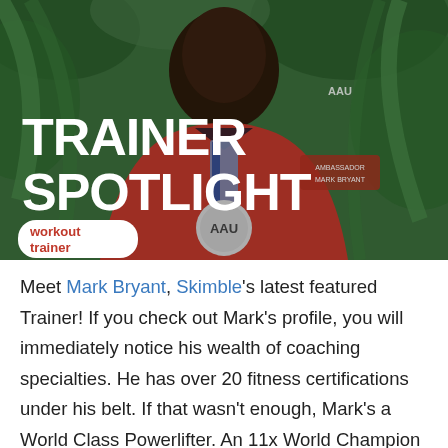[Figure (photo): A man wearing a red AAU athletic jacket and an AAU medal around his neck, standing in front of tropical green plants. Overlaid text reads 'TRAINER SPOTLIGHT' in large white bold letters, with a 'workout trainer' logo badge in the lower left.]
Meet Mark Bryant, Skimble's latest featured Trainer! If you check out Mark's profile, you will immediately notice his wealth of coaching specialties. He has over 20 fitness certifications under his belt. If that wasn't enough, Mark's a World Class Powerlifter. An 11x World Champion Powerlifter and 2x Powerlifting Hall of Famer 😉  We got a